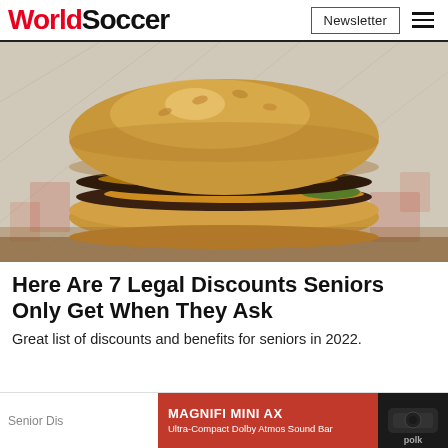WorldSoccer | Newsletter
[Figure (photo): Close-up photo of a double cheeseburger on foil wrapper with two beef patties, melted cheese, and pickles on a sesame-free bun]
Here Are 7 Legal Discounts Seniors Only Get When They Ask
Great list of discounts and benefits for seniors in 2022.
Senior Dis...
[Figure (screenshot): Advertisement banner for Magnifi Mini AX Ultra-Compact Dolby Atmos Sound Bar by Polk, with red background, play and close controls, and a photo of the speaker]
Learn More